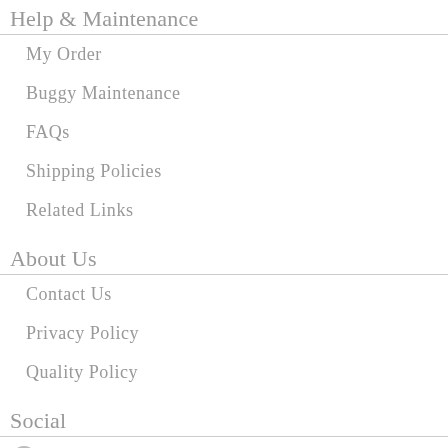Help & Maintenance
My Order
Buggy Maintenance
FAQs
Shipping Policies
Related Links
About Us
Contact Us
Privacy Policy
Quality Policy
Social
Facebook